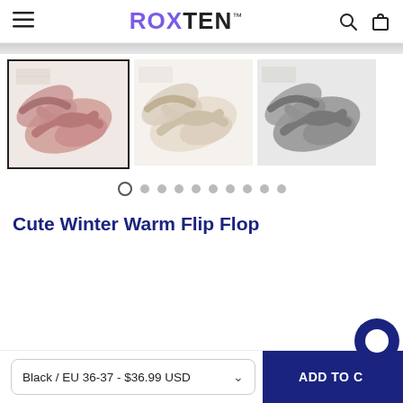ROXTEN™
[Figure (photo): Three product thumbnail photos of fluffy cross-band slippers in pink, cream/white, and gray colors. The leftmost thumbnail is selected (has a border).]
Cute Winter Warm Flip Flop
Black / EU 36-37 - $36.99 USD
ADD TO CART